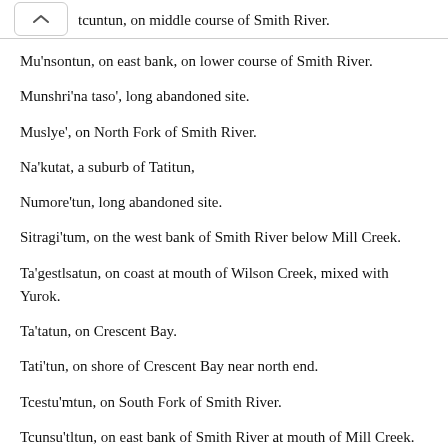tcuntun, on middle course of Smith River.
Mu'nsontun, on east bank, on lower course of Smith River.
Munshri'na taso', long abandoned site.
Muslye', on North Fork of Smith River.
Na'kutat, a suburb of Tatitun,
Numore'tun, long abandoned site.
Sitragi'tum, on the west bank of Smith River below Mill Creek.
Ta'gestlsatun, on coast at mouth of Wilson Creek, mixed with Yurok.
Ta'tatun, on Crescent Bay.
Tati'tun, on shore of Crescent Bay near north end.
Tcestu'mtun, on South Fork of Smith River.
Tcunsu'tltun, on east bank of Smith River at mouth of Mill Creek.